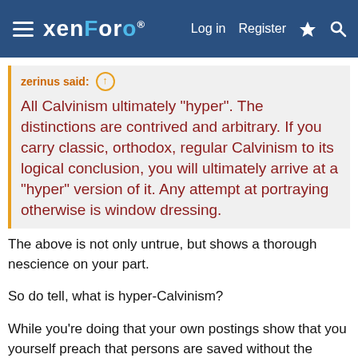xenForo — Log in   Register
zerinus said: ↑
All Calvinism ultimately "hyper". The distinctions are contrived and arbitrary. If you carry classic, orthodox, regular Calvinism to its logical conclusion, you will ultimately arrive at a "hyper" version of it. Any attempt at portraying otherwise is window dressing.
The above is not only untrue, but shows a thorough nescience on your part.
So do tell, what is hyper-Calvinism?
While you're doing that your own postings show that you yourself preach that persons are saved without the Gospel, which ironically makes you a proponent of what you ridicule as error. This comes from your horrendous misunderstanding and misinterpretation of Romans 2.